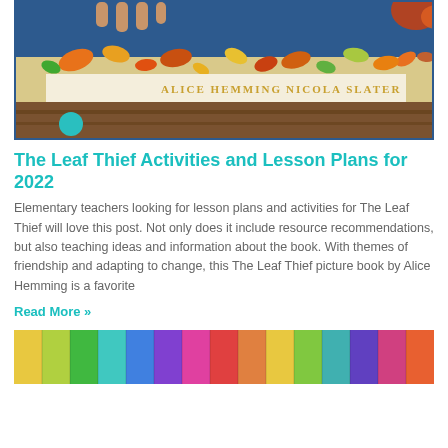[Figure (photo): Book cover photo of The Leaf Thief by Alice Hemming and Nicola Slater, showing autumn leaves and dinosaur illustration with authors' names on the cover, placed on a wooden surface.]
The Leaf Thief Activities and Lesson Plans for 2022
Elementary teachers looking for lesson plans and activities for The Leaf Thief will love this post. Not only does it include resource recommendations, but also teaching ideas and information about the book. With themes of friendship and adapting to change, this The Leaf Thief picture book by Alice Hemming is a favorite
Read More »
[Figure (photo): Colorful image showing what appears to be colored pencils or crayons in a rainbow of colors viewed from above.]